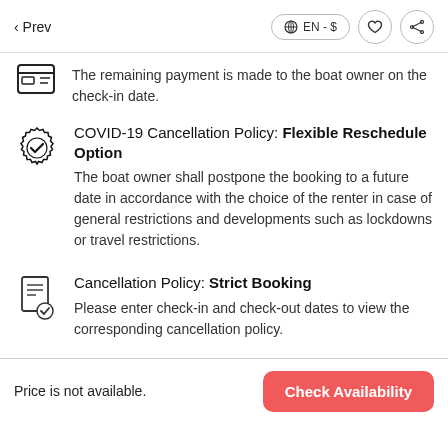< Prev  EN - $
The remaining payment is made to the boat owner on the check-in date.
COVID-19 Cancellation Policy: Flexible Reschedule Option
The boat owner shall postpone the booking to a future date in accordance with the choice of the renter in case of general restrictions and developments such as lockdowns or travel restrictions.
Cancellation Policy: Strict Booking
Please enter check-in and check-out dates to view the corresponding cancellation policy.
Price is not available.  Check Availability